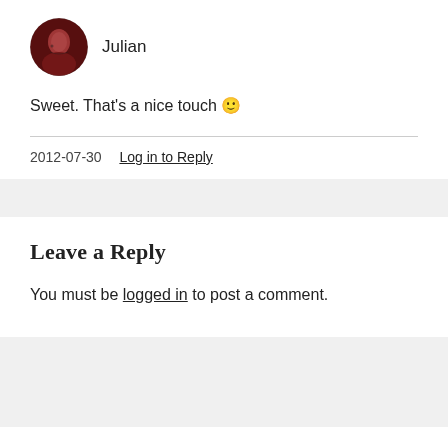[Figure (photo): Circular avatar photo of a person named Julian, dark reddish background]
Julian
Sweet. That's a nice touch 🙂
2012-07-30 Log in to Reply
Leave a Reply
You must be logged in to post a comment.